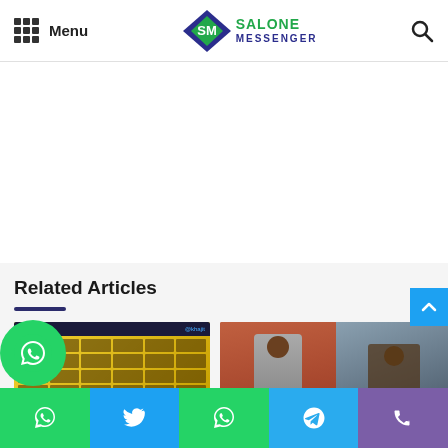Salone Messenger - Menu | Search
[Figure (logo): Salone Messenger logo with diamond-shaped SM icon and green/blue text reading SALONE MESSENGER]
Related Articles
[Figure (photo): Yellow grid display board showing number 24 and multiple small portrait photos arranged in a grid, branded with SM logos]
[Figure (photo): Two photos: a man in a grey suit in front of a red brick wall, and a person outdoors possibly with colorful clothing]
[Figure (logo): WhatsApp bubble icon, green circle with white phone/speech bubble]
Share bar with WhatsApp, Twitter, WhatsApp, Telegram, Phone icons